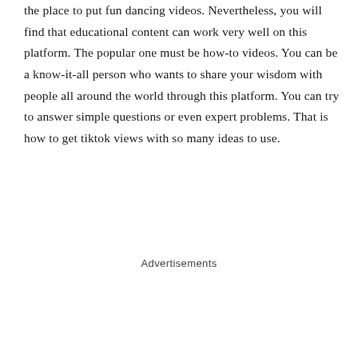the place to put fun dancing videos. Nevertheless, you will find that educational content can work very well on this platform. The popular one must be how-to videos. You can be a know-it-all person who wants to share your wisdom with people all around the world through this platform. You can try to answer simple questions or even expert problems. That is how to get tiktok views with so many ideas to use.
Advertisements